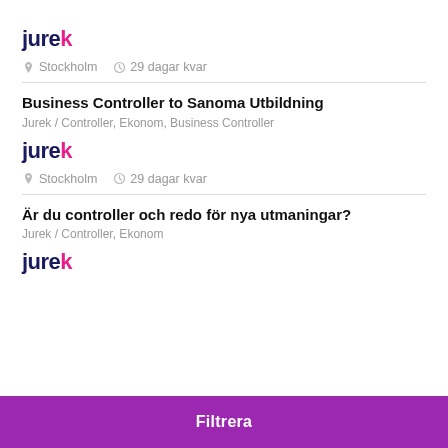[Figure (logo): Jurek logo - dark blue 'jurek' text with pink 'k']
Stockholm   29 dagar kvar
Business Controller to Sanoma Utbildning
Jurek / Controller, Ekonom, Business Controller
[Figure (logo): Jurek logo - dark blue 'jurek' text with pink 'k']
Stockholm   29 dagar kvar
Är du controller och redo för nya utmaningar?
Jurek / Controller, Ekonom
[Figure (logo): Jurek logo - dark blue 'jurek' text with pink 'k']
Filtrera